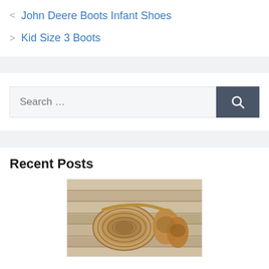< John Deere Boots Infant Shoes
> Kid Size 3 Boots
[Figure (other): Search bar with text 'Search ...' and a dark grey search button with magnifying glass icon]
Recent Posts
[Figure (photo): Photo of tan/brown sandals and a coiled rope belt on a wooden surface]